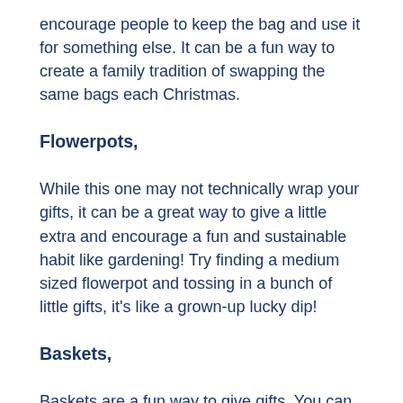encourage people to keep the bag and use it for something else. It can be a fun way to create a family tradition of swapping the same bags each Christmas.
Flowerpots,
While this one may not technically wrap your gifts, it can be a great way to give a little extra and encourage a fun and sustainable habit like gardening! Try finding a medium sized flowerpot and tossing in a bunch of little gifts, it's like a grown-up lucky dip!
Baskets,
Baskets are a fun way to give gifts. You can grab a decorative basket, storage basket or picnic basket, all will double as an extra gift and sustainable way to give a gift. You can find baskets second hand or brand new. If you can't find a basket, try a storage tub or tray. Extra